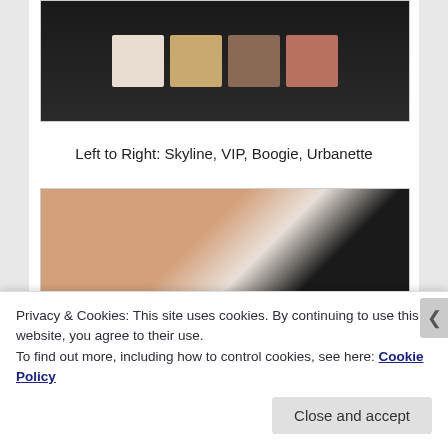[Figure (photo): Eyeshadow palette with four shades (light beige/white, gold/champagne, medium brown/taupe, and copper/rust) displayed in a dark/black compact case on a dark background.]
Left to Right: Skyline, VIP, Boogie, Urbanette
[Figure (photo): Close-up photo showing swatches of eyeshadow colors on a person's arm/wrist, with the black compact palette visible in the background.]
Privacy & Cookies: This site uses cookies. By continuing to use this website, you agree to their use.
To find out more, including how to control cookies, see here: Cookie Policy
Close and accept